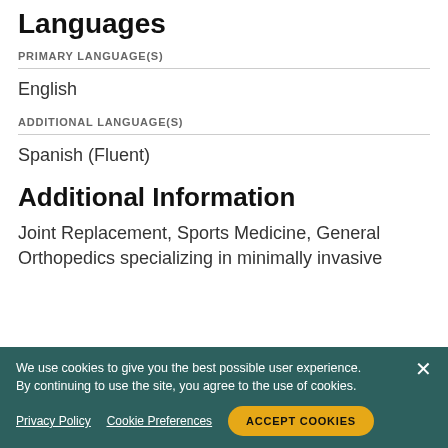Languages
PRIMARY LANGUAGE(S)
English
ADDITIONAL LANGUAGE(S)
Spanish (Fluent)
Additional Information
Joint Replacement, Sports Medicine, General Orthopedics specializing in minimally invasive
We use cookies to give you the best possible user experience. By continuing to use the site, you agree to the use of cookies.
Privacy Policy   Cookie Preferences   ACCEPT COOKIES